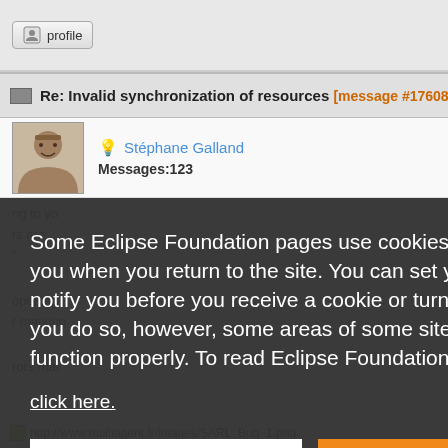[Figure (screenshot): Profile button in top navigation bar]
Re: Invalid synchronization of resources [message #1760884
[Figure (photo): Avatar photo of Stéphane Galland]
Stéphane Galland
Messages:123
Some Eclipse Foundation pages use cookies to better serve you when you return to the site. You can set your browser to notify you before you receive a cookie or turn off cookies. If you do so, however, some areas of some sites may not function properly. To read Eclipse Foundation Privacy Policy
click here.
Decline
Allow cookies
http://www.multiagent.fr/images/SARL_Bug_1.png